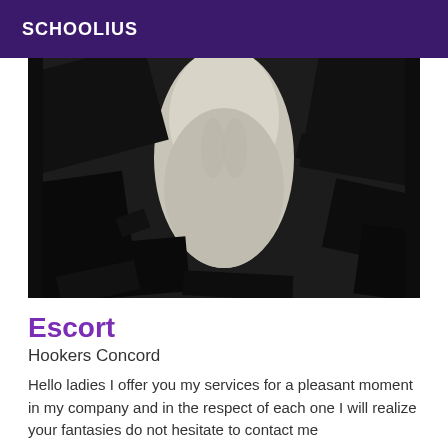SCHOOLIUS
[Figure (photo): A censored/redacted photograph showing a torso, with large black rectangular regions obscuring portions of the image. High contrast black and white photo.]
Escort
Hookers Concord
Hello ladies I offer you my services for a pleasant moment in my company and in the respect of each one I will realize your fantasies do not hesitate to contact me